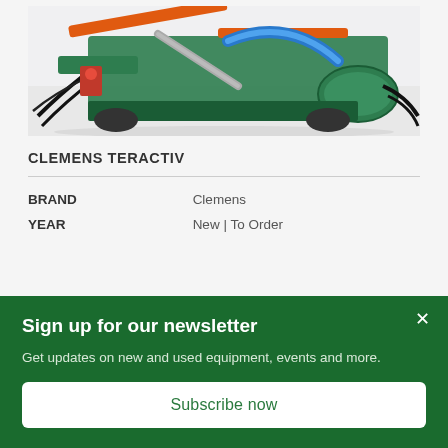[Figure (photo): Industrial agricultural machine (Clemens Teractiv) with green frame, orange structural bars, blue hose, and hydraulic components, photographed against a light background.]
CLEMENS TERACTIV
| BRAND | Clemens |
| YEAR | New | To Order |
Sign up for our newsletter
Get updates on new and used equipment, events and more.
Subscribe now